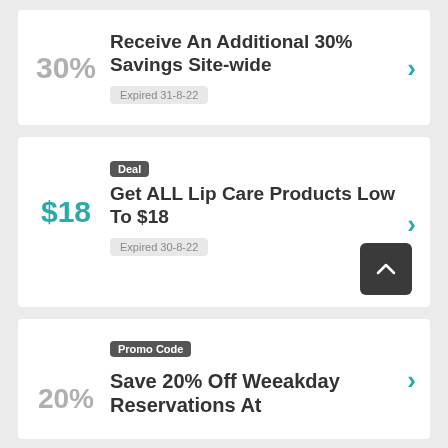30%
Receive An Additional 30% Savings Site-wide
Expired 31-8-22
Deal
$18
Get ALL Lip Care Products Low To $18
Expired 30-8-22
Promo Code
Save 20% Off Weeakday Reservations At
20%